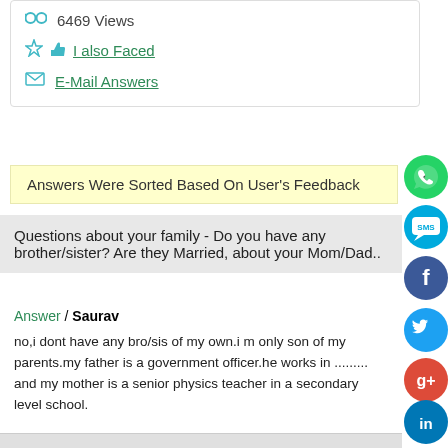6469 Views
I also Faced
E-Mail Answers
Answers Were Sorted Based On User's Feedback
Questions about your family - Do you have any brother/sister? Are they Married, about your Mom/Dad..
Answer / Saurav
no,i dont have any bro/sis of my own.i m only son of my parents.my father is a government officer.he works in ......... and my mother is a senior physics teacher in a secondary level school.